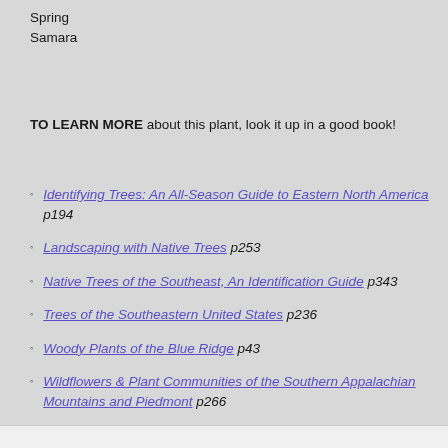Spring
Samara
TO LEARN MORE about this plant, look it up in a good book!
Identifying Trees: An All-Season Guide to Eastern North America p194
Landscaping with Native Trees p253
Native Trees of the Southeast, An Identification Guide p343
Trees of the Southeastern United States p236
Woody Plants of the Blue Ridge p43
Wildflowers & Plant Communities of the Southern Appalachian Mountains and Piedmont p266
Woody Plants of the Southeastern US: A Winter Guide p357